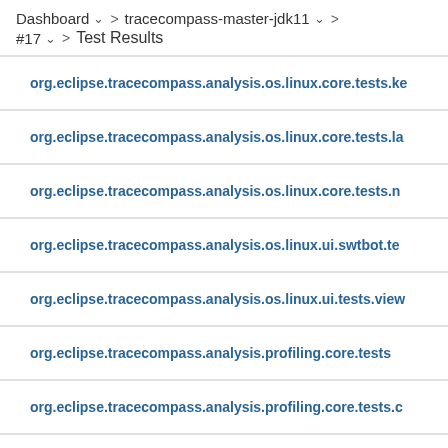Dashboard > tracecompass-master-jdk11 > #17 > Test Results
org.eclipse.tracecompass.analysis.os.linux.core.tests.ke
org.eclipse.tracecompass.analysis.os.linux.core.tests.la
org.eclipse.tracecompass.analysis.os.linux.core.tests.n
org.eclipse.tracecompass.analysis.os.linux.ui.swtbot.te
org.eclipse.tracecompass.analysis.os.linux.ui.tests.view
org.eclipse.tracecompass.analysis.profiling.core.tests
org.eclipse.tracecompass.analysis.profiling.core.tests.c
org.eclipse.tracecompass.analysis.profiling...